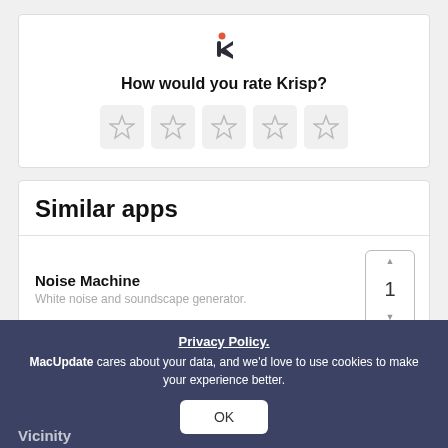[Figure (logo): Krisp app logo - stylized K letter in dark color with orange dot]
How would you rate Krisp?
[Figure (other): Five empty star rating boxes in a row]
Similar apps
Noise Machine
White noise and soundscape generator.
Noizio
Vicinity
Privacy Policy.
MacUpdate cares about your data, and we'd love to use cookies to make your experience better.
OK